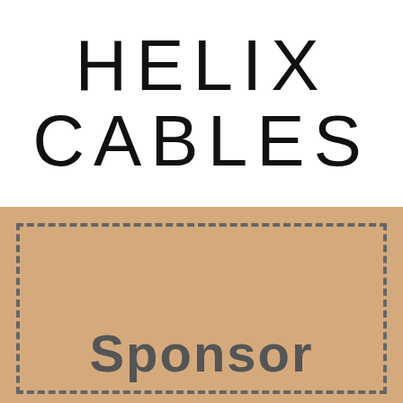[Figure (logo): HELIX CABLES company logo in large black uppercase spaced letters on white background]
[Figure (other): Tan/beige background section with a dashed border rectangle and the word 'Sponsor' in bold gray text at the bottom]